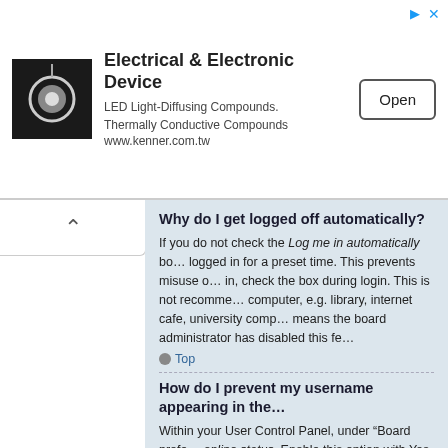[Figure (infographic): Advertisement banner for Electrical & Electronic Device - LED Light-Diffusing Compounds, Thermally Conductive Compounds. www.kenner.com.tw. With Open button.]
Why do I get logged off automatically?
If you do not check the Log me in automatically bo... logged in for a preset time. This prevents misuse o... in, check the box during login. This is not recomme... computer, e.g. library, internet cafe, university comp... means the board administrator has disabled this fe...
Top
How do I prevent my username appearing in the...
Within your User Control Panel, under "Board prefe... online status. Enable this option with Yes and you... moderators and yourself. You will be counted as a...
Top
I've lost my password!
Don't panic! While your password cannot be retriev... and click I've forgotten my password. Follow the in...